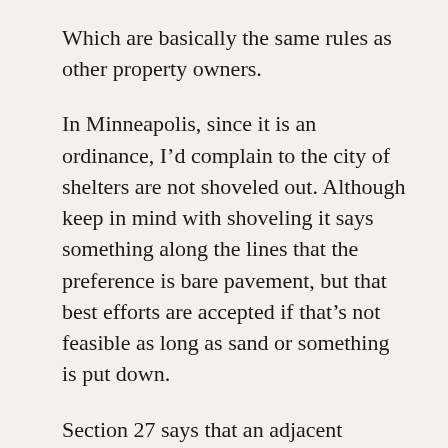Which are basically the same rules as other property owners.
In Minneapolis, since it is an ordinance, I'd complain to the city of shelters are not shoveled out. Although keep in mind with shoveling it says something along the lines that the preference is bare pavement, but that best efforts are accepted if that's not feasible as long as sand or something is put down.
Section 27 says that an adjacent property owner can put up their own shelter. However they can't advertise, and then must otherwise follow the shelter rules. I'd assume these are some of the oddball ones